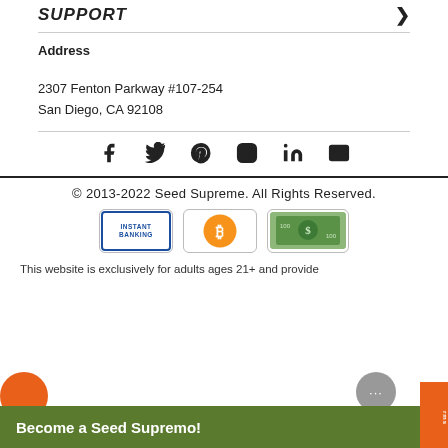SUPPORT
Address
2307 Fenton Parkway #107-254
San Diego, CA 92108
[Figure (infographic): Social media icons row: Facebook, Twitter, Pinterest, Instagram, LinkedIn, Email]
© 2013-2022 Seed Supreme. All Rights Reserved.
[Figure (infographic): Payment badges: Instant Banking, Bitcoin, US Dollar bill]
This website is exclusively for adults ages 21+ and provide
Become a Seed Supremo!